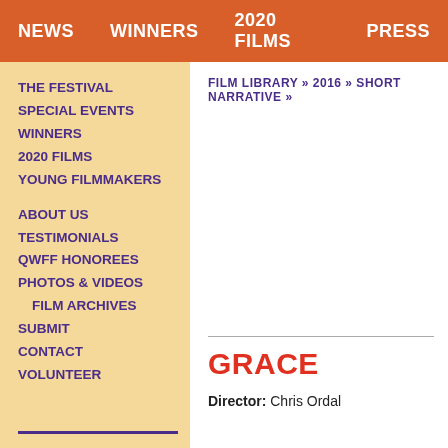NEWS   WINNERS   2020 FILMS   PRESS
THE FESTIVAL
SPECIAL EVENTS
WINNERS
2020 FILMS
YOUNG FILMMAKERS
ABOUT US
TESTIMONIALS
QWFF HONOREES
PHOTOS & VIDEOS
FILM ARCHIVES
SUBMIT
CONTACT
VOLUNTEER
FILM LIBRARY » 2016 » SHORT NARRATIVE »
GRACE
Director: Chris Ordal